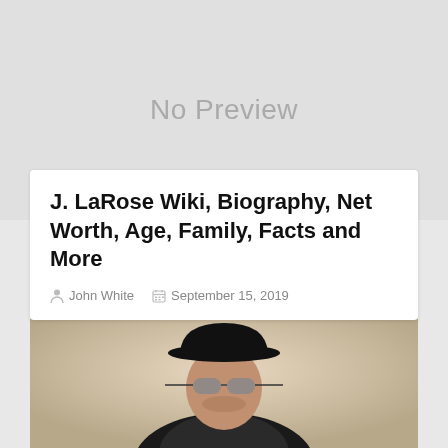[Figure (other): Grey 'No Preview' placeholder image area at the top of the page]
J. LaRose Wiki, Biography, Net Worth, Age, Family, Facts and More
John White   September 15, 2019
[Figure (photo): Photo of a man wearing a black fedora hat and reflective sunglasses, dressed in dark clothing, against a light beige background]